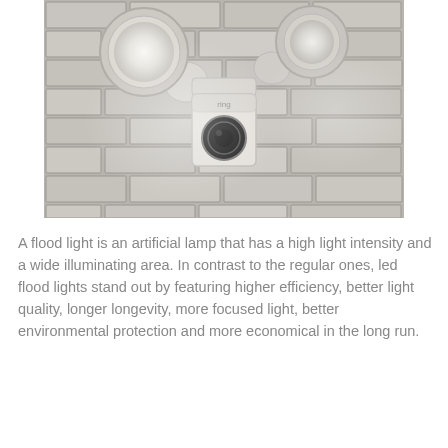[Figure (photo): A Ring floodlight security camera mounted on a white/grey brick wall. The device has two bright floodlights on either side and a camera unit in the center.]
A flood light is an artificial lamp that has a high light intensity and a wide illuminating area. In contrast to the regular ones, led flood lights stand out by featuring higher efficiency, better light quality, longer longevity, more focused light, better environmental protection and more economical in the long run.